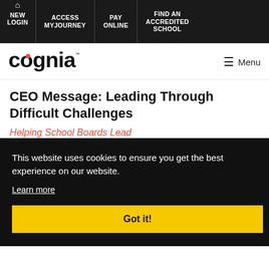NEW LOGIN | ACCESS MYJOURNEY | PAY ONLINE | FIND AN ACCREDITED SCHOOL
[Figure (logo): Cognia logo with red dot on the 'o']
CEO Message: Leading Through Difficult Challenges
Helping School Boards Lead
This website uses cookies to ensure you get the best experience on our website.
Learn more
Got it!